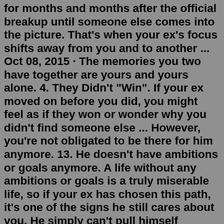for months and months after the official breakup until someone else comes into the picture. That's when your ex's focus shifts away from you and to another ... Oct 08, 2015 · The memories you two have together are yours and yours alone. 4. They Didn't "Win". If your ex moved on before you did, you might feel as if they won or wonder why you didn't find someone else ... However, you're not obligated to be there for him anymore. 13. He doesn't have ambitions or goals anymore. A life without any ambitions or goals is a truly miserable life, so if your ex has chosen this path, it's one of the signs he still cares about you. He simply can't pull himself together after the break-up.If your ex does any of these things, the chances of them returning to you are slim to none. They cease all contact with you: no returning texts or calls. They block you from all social media. This is a big step that indicates they want nothing to do with you. They start seriously dating someone else. It's their attempt of making you jealous. As childish as it seems, they could still be very much in love with you.